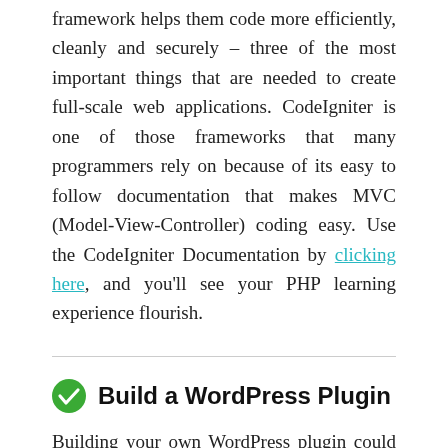framework helps them code more efficiently, cleanly and securely – three of the most important things that are needed to create full-scale web applications. CodeIgniter is one of those frameworks that many programmers rely on because of its easy to follow documentation that makes MVC (Model-View-Controller) coding easy. Use the CodeIgniter Documentation by clicking here, and you'll see your PHP learning experience flourish.
Build a WordPress Plugin
Building your own WordPress plugin could take your learning experience to new heights. Of course, this tutorial will take more knowledge and experience, but it's one to consider once you've grasped the use of PHP frameworks. This tutorial